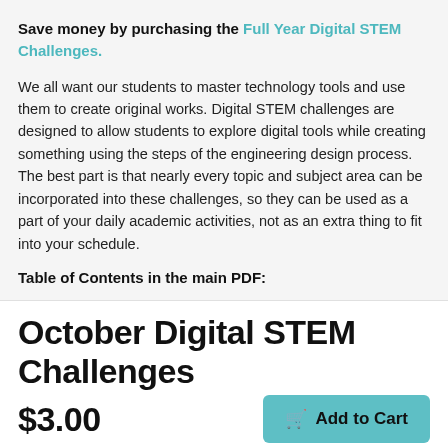Save money by purchasing the Full Year Digital STEM Challenges.
We all want our students to master technology tools and use them to create original works. Digital STEM challenges are designed to allow students to explore digital tools while creating something using the steps of the engineering design process. The best part is that nearly every topic and subject area can be incorporated into these challenges, so they can be used as a part of your daily academic activities, not as an extra thing to fit into your schedule.
Table of Contents in the main PDF:
October Digital STEM Challenges
$3.00
Add to Cart